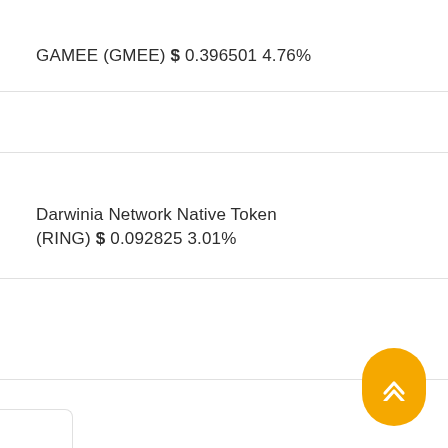GAMEE (GMEE) $ 0.396501 4.76%
Darwinia Network Native Token (RING) $ 0.092825 3.01%